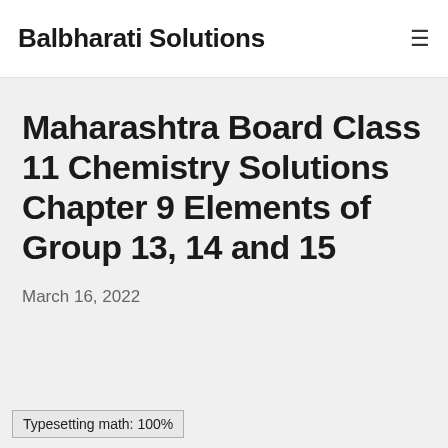Balbharati Solutions
Maharashtra Board Class 11 Chemistry Solutions Chapter 9 Elements of Group 13, 14 and 15
March 16, 2022
Typesetting math: 100%